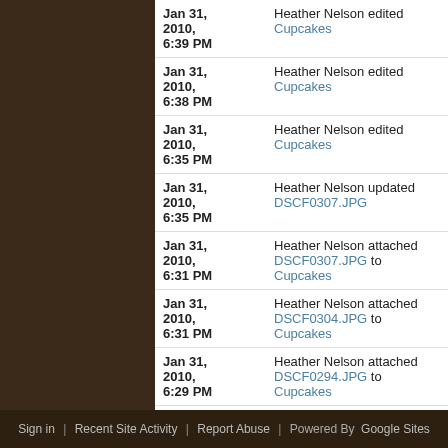| Date | Action |
| --- | --- |
| Jan 31, 2010, 6:39 PM | Heather Nelson edited Cupcakes |
| Jan 31, 2010, 6:38 PM | Heather Nelson edited Cupcakes |
| Jan 31, 2010, 6:35 PM | Heather Nelson edited Cupcakes |
| Jan 31, 2010, 6:35 PM | Heather Nelson updated DSCF0307.JPG |
| Jan 31, 2010, 6:31 PM | Heather Nelson attached DSCF0307.JPG to Cupcakes |
| Jan 31, 2010, 6:31 PM | Heather Nelson attached DSCF0304.JPG to Cupcakes |
| Jan 31, 2010, 6:29 PM | Heather Nelson attached DSCF0294.JPG to Cupcakes |
older | newer
Sign in | Recent Site Activity | Report Abuse | Powered By Google Sites